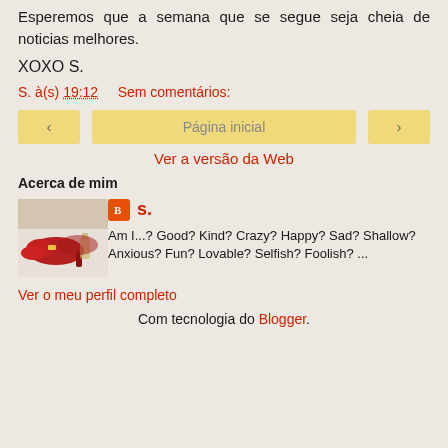Esperemos que a semana que se segue seja cheia de noticias melhores.
XOXO S.
S. à(s) 19:12    Sem comentários:
‹   Página inicial   ›
Ver a versão da Web
Acerca de mim
[Figure (photo): Profile photo showing red shoes/heels with a small bottle in the background on a white surface]
s.
Am I...? Good? Kind? Crazy? Happy? Sad? Shallow? Anxious? Fun? Lovable? Selfish? Foolish? ...
Ver o meu perfil completo
Com tecnologia do Blogger.